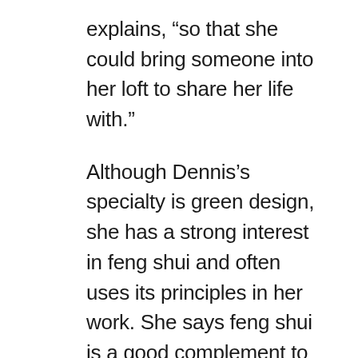explains, “so that she could bring someone into her loft to share her life with.”
Although Dennis’s specialty is green design, she has a strong interest in feng shui and often uses its principles in her work. She says feng shui is a good complement to a green design because, “it’s all about the energy with feng shui and the natural order of things. If you’re bringing in natural materials and resourceful ways of using energy, I think it really meshes with the principles of feng shui.” In the living room, Dennis followed feng shui principles in the positioning of the furniture, allowing a clear view of the